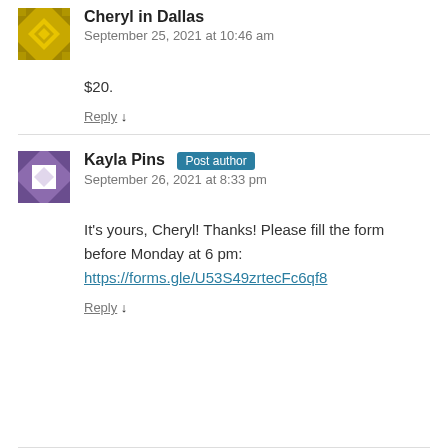[Figure (illustration): Quilted pattern avatar icon in gold/yellow colors for Cheryl in Dallas]
Cheryl in Dallas
September 25, 2021 at 10:46 am
$20.
Reply ↓
[Figure (illustration): Quilted pattern avatar icon in purple/white colors for Kayla Pins]
Kayla Pins Post author
September 26, 2021 at 8:33 pm
It's yours, Cheryl! Thanks! Please fill the form before Monday at 6 pm: https://forms.gle/U53S49zrtecFc6qf8
Reply ↓